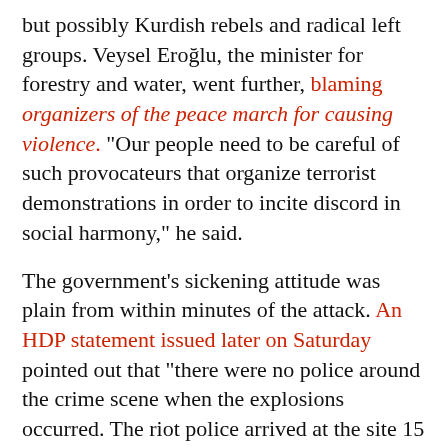but possibly Kurdish rebels and radical left groups. Veysel Eroğlu, the minister for forestry and water, went further, blaming organizers of the peace march for causing violence. "Our people need to be careful of such provocateurs that organize terrorist demonstrations in order to incite discord in social harmony," he said.
The government's sickening attitude was plain from within minutes of the attack. An HDP statement issued later on Saturday pointed out that "there were no police around the crime scene when the explosions occurred. The riot police arrived at the site 15 minutes later. But when they arrived, they used tear gas grenades against people who intended to help the injured."
One man who learned from Facebook that his nephew had been killed described how people who came to the plaza faced police violence. "These are our children, and they would not let us help them," he